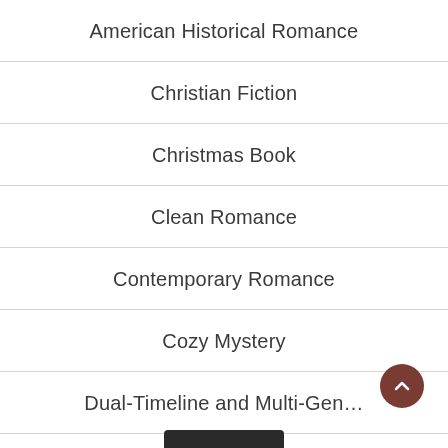American Historical Romance
Christian Fiction
Christmas Book
Clean Romance
Contemporary Romance
Cozy Mystery
Dual-Timeline and Multi-Gen…
General Fiction
Guest Post
Highlander/Scottish Romance
Historical Fiction
Historical Mystery